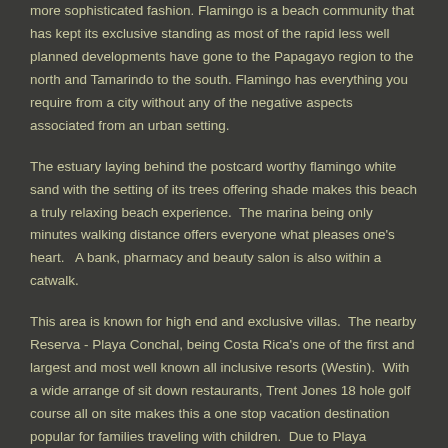more sophisticated fashion. Flamingo is a beach community that has kept its exclusive standing as most of the rapid less well planned developments have gone to the Papagayo region to the north and Tamarindo to the south. Flamingo has everything you require from a city without any of the negative aspects associated from an urban setting.
The estuary laying behind the postcard worthy flamingo white sand with the setting of its trees offering shade makes this beach a truly relaxing beach experience.  The marina being only minutes walking distance offers everyone what pleases one's heart.   A bank, pharmacy and beauty salon is also within a catwalk.
This area is known for high end and exclusive villas.  The nearby Reserva - Playa Conchal, being Costa Rica's one of the first and largest and most well known all inclusive resorts (Westin).  With a wide arrange of sit down restaurants, Trent Jones 18 hole golf course all on site makes this a one stop vacation destination popular for families traveling with children.  Due to Playa Conchal being a beach with a calm sea swimming here is ideal for all swimmers experienced or not.
Flamingo Entertainment & Food